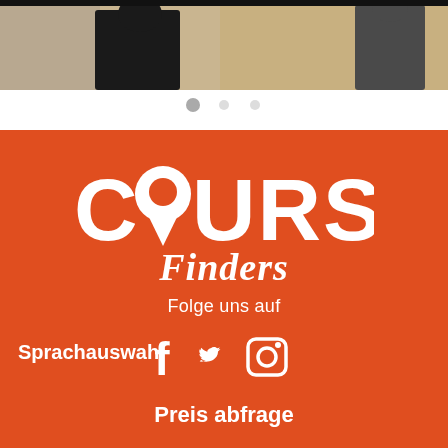[Figure (photo): Cropped photo showing two people in what appears to be an indoor/outdoor setting, partially cut off at top]
[Figure (logo): CourseFinders logo on orange background: large white 'COURSE' text with a map pin replacing the O, and italic 'Finders' below in white]
Folge uns auf
[Figure (infographic): Social media icons: Facebook (f), Twitter (bird), Instagram (camera) in white on orange background]
Sprachauswahl
Preis abfrage